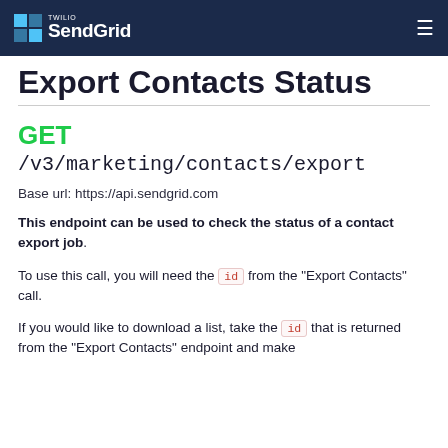Twilio SendGrid
Export Contacts Status
GET /v3/marketing/contacts/export
Base url: https://api.sendgrid.com
This endpoint can be used to check the status of a contact export job.
To use this call, you will need the id from the "Export Contacts" call.
If you would like to download a list, take the id that is returned from the "Export Contacts" endpoint and make